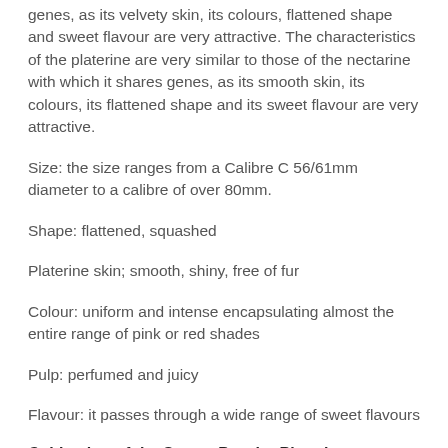genes, as its velvety skin, its colours, flattened shape and sweet flavour are very attractive. The characteristics of the platerine are very similar to those of the nectarine with which it shares genes, as its smooth skin, its colours, its flattened shape and its sweet flavour are very attractive.
Size: the size ranges from a Calibre C 56/61mm diameter to a calibre of over 80mm.
Shape: flattened, squashed
Platerine skin; smooth, shiny, free of fur
Colour: uniform and intense encapsulating almost the entire range of pink or red shades
Pulp: perfumed and juicy
Flavour: it passes through a wide range of sweet flavours
Cultivation of the Saturn Peach - Platerine
To cultivation to limit...